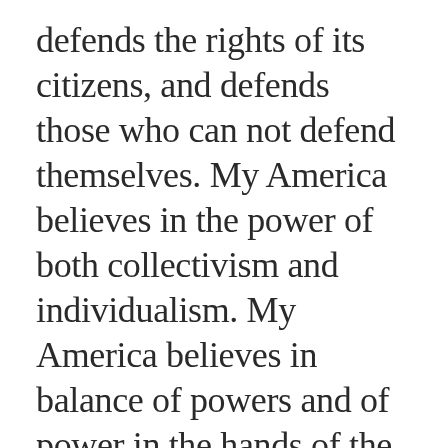defends the rights of its citizens, and defends those who can not defend themselves. My America believes in the power of both collectivism and individualism. My America believes in balance of powers and of power in the hands of the people. My America will promote education, critical thinking and new ideas. My America will not shy away from the challenges of the future, but